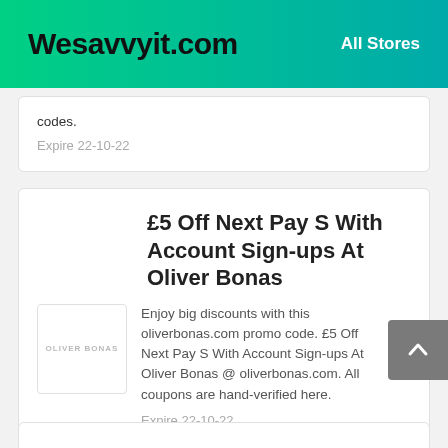Wesavvyit.com    All Stores
codes.
Expire 22-10-22
£5 Off Next Pay S With Account Sign-ups At Oliver Bonas
Enjoy big discounts with this oliverbonas.com promo code. £5 Off Next Pay S With Account Sign-ups At Oliver Bonas @ oliverbonas.com. All coupons are hand-verified here.
Expire 22-10-22